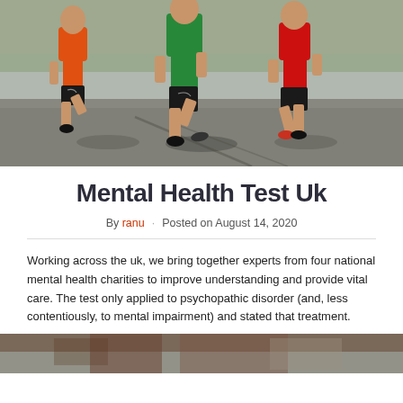[Figure (photo): Three young runners racing on a paved surface outdoors, wearing colorful athletic shirts (orange, green, red) and black shorts with Nike branding.]
Mental Health Test Uk
By ranu · Posted on August 14, 2020
Working across the uk, we bring together experts from four national mental health charities to improve understanding and provide vital care. The test only applied to psychopathic disorder (and, less contentiously, to mental impairment) and stated that treatment.
[Figure (photo): Partial bottom image, showing what appears to be a building or outdoor scene.]